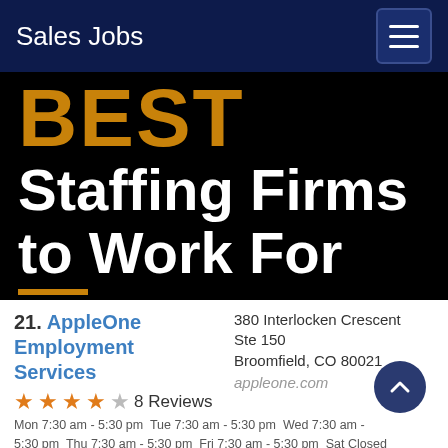Sales Jobs
[Figure (illustration): Dark banner image with orange 'BEST' text and white bold text reading 'Staffing Firms to Work For' with an orange underline accent]
21. AppleOne Employment Services
★★★★☆ 8 Reviews
380 Interlocken Crescent Ste 150 Broomfield, CO 80021
appleone.com
Mon 7:30 am - 5:30 pm Tue 7:30 am - 5:30 pm Wed 7:30 am - 5:30 pm Thu 7:30 am - 5:30 pm Fri 7:30 am - 5:30 pm Sat Closed